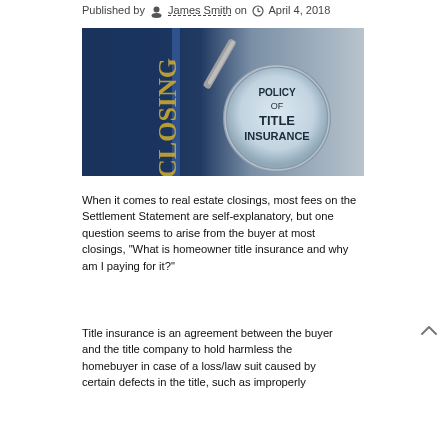Published by James Smith on April 4, 2018
[Figure (photo): A magnifying glass over the text POLICY OF TITLE INSURANCE, placed on a blue folder labeled CLOSING. The image has a dark blue background on the left and lighter grey tones on the right.]
When it comes to real estate closings, most fees on the Settlement Statement are self-explanatory, but one question seems to arise from the buyer at most closings, "What is homeowner title insurance and why am I paying for it?"
Title insurance is an agreement between the buyer and the title company to hold harmless the homebuyer in case of a loss/law suit caused by certain defects in the title, such as improperly